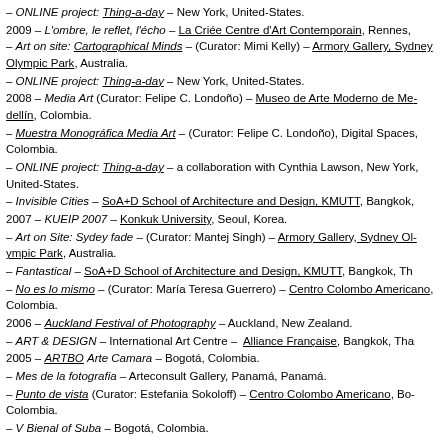– ONLINE project: Thing-a-day – New York, United-States.
2009 – L'ombre, le reflet, l'écho – La Criée Centre d'Art Contemporain, Rennes, – Art on site: Cartographical Minds – (Curator: Mimi Kelly) – Armory Gallery, Sydney Olympic Park, Australia.
– ONLINE project: Thing-a-day – New York, United-States.
2008 – Media Art (Curator: Felipe C. Londoño) – Museo de Arte Moderno de Medellín, Colombia.
– Muestra Monográfica Media Art – (Curator: Felipe C. Londoño), Digital Spaces, Colombia.
– ONLINE project: Thing-a-day – a collaboration with Cynthia Lawson, New York, United-States.
– Invisible Cities – SoA+D School of Architecture and Design, KMUTT, Bangkok,
2007 – KUEIP 2007 – Konkuk University, Seoul, Korea.
– Art on Site: Sydey fade – (Curator: Mantej Singh) – Armory Gallery, Sydney Olympic Park, Australia.
– Fantastical – SoA+D School of Architecture and Design, KMUTT, Bangkok, Thailand.
– No es lo mismo – (Curator: María Teresa Guerrero) – Centro Colombo Americano, Colombia.
2006 – Auckland Festival of Photography – Auckland, New Zealand.
– ART & DESIGN – International Art Centre – Alliance Française, Bangkok, Thailand.
2005 – ARTBO Arte Camara – Bogotá, Colombia.
– Mes de la fotografia – Arteconsult Gallery, Panamá, Panamá.
– Punto de vista (Curator: Estefania Sokoloff) – Centro Colombo Americano, Bogotá, Colombia.
– V Bienal of Suba – Bogotá, Colombia.